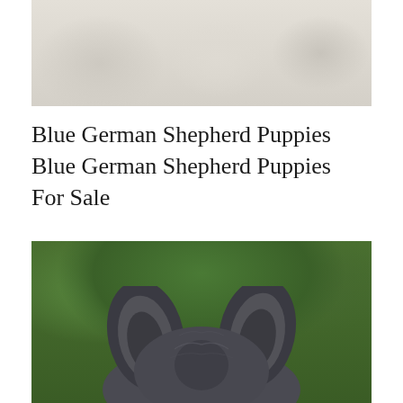[Figure (photo): Top portion of a photo showing light-colored (white/cream) fluffy puppies, partially cropped]
Blue German Shepherd Puppies Blue German Shepherd Puppies For Sale
[Figure (photo): Close-up photo of a blue/gray German Shepherd puppy seen from above on grass, showing the top of its head with two pointed ears]